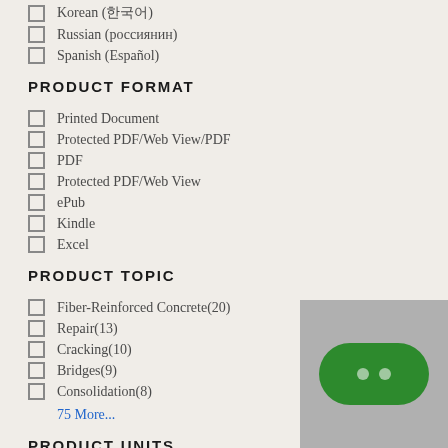Korean (한국어)
Russian (россиянин)
Spanish (Español)
PRODUCT FORMAT
Printed Document
Protected PDF/Web View/PDF
PDF
Protected PDF/Web View
ePub
Kindle
Excel
PRODUCT TOPIC
Fiber-Reinforced Concrete(20)
Repair(13)
Cracking(10)
Bridges(9)
Consolidation(8)
75 More...
PRODUCT UNITS